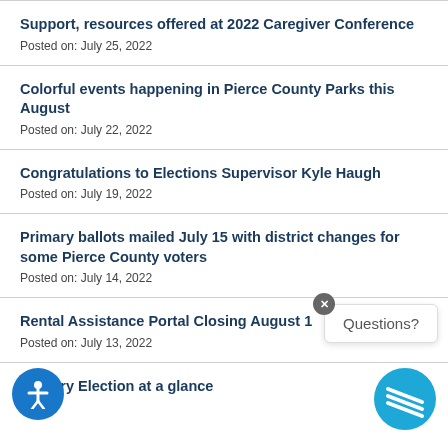Support, resources offered at 2022 Caregiver Conference
Posted on: July 25, 2022
Colorful events happening in Pierce County Parks this August
Posted on: July 22, 2022
Congratulations to Elections Supervisor Kyle Haugh
Posted on: July 19, 2022
Primary ballots mailed July 15 with district changes for some Pierce County voters
Posted on: July 14, 2022
Rental Assistance Portal Closing August 1
Posted on: July 13, 2022
Primary Election at a glance